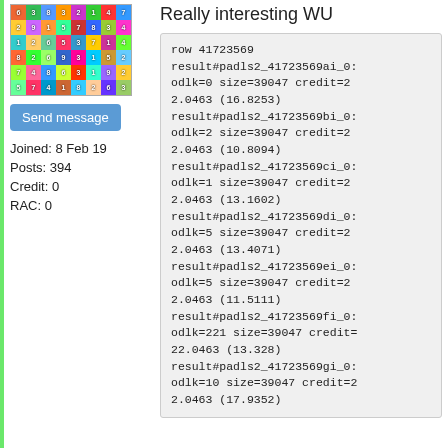[Figure (illustration): Colorful grid avatar image with numbered colored squares]
Send message
Joined: 8 Feb 19
Posts: 394
Credit: 0
RAC: 0
Really interesting WU
row 41723569
result#padls2_41723569ai_0: odlk=0 size=39047 credit=22.0463 (16.8253)
result#padls2_41723569bi_0: odlk=2 size=39047 credit=22.0463 (10.8094)
result#padls2_41723569ci_0: odlk=1 size=39047 credit=22.0463 (13.1602)
result#padls2_41723569di_0: odlk=5 size=39047 credit=22.0463 (13.4071)
result#padls2_41723569ei_0: odlk=5 size=39047 credit=22.0463 (11.5111)
result#padls2_41723569fi_0: odlk=221 size=39047 credit=22.0463 (13.328)
result#padls2_41723569gi_0: odlk=10 size=39047 credit=22.0463 (17.9352)